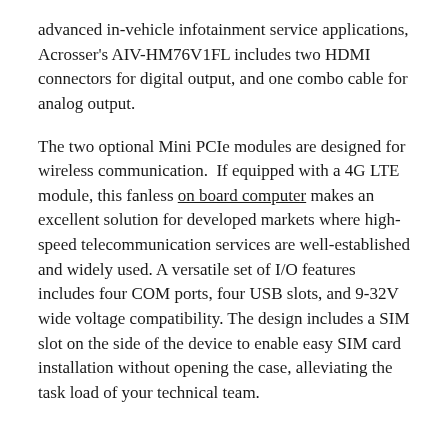advanced in-vehicle infotainment service applications, Acrosser's AIV-HM76V1FL includes two HDMI connectors for digital output, and one combo cable for analog output.
The two optional Mini PCIe modules are designed for wireless communication.  If equipped with a 4G LTE module, this fanless on board computer makes an excellent solution for developed markets where high-speed telecommunication services are well-established and widely used. A versatile set of I/O features includes four COM ports, four USB slots, and 9-32V wide voltage compatibility. The design includes a SIM slot on the side of the device to enable easy SIM card installation without opening the case, alleviating the task load of your technical team.